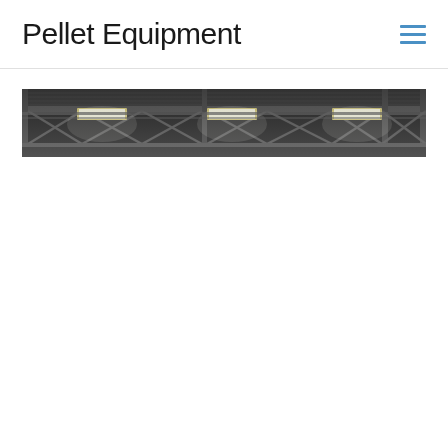Pellet Equipment
[Figure (photo): Interior view of an industrial warehouse ceiling with steel trusses, beams, and fluorescent lighting fixtures illuminating the space from above.]